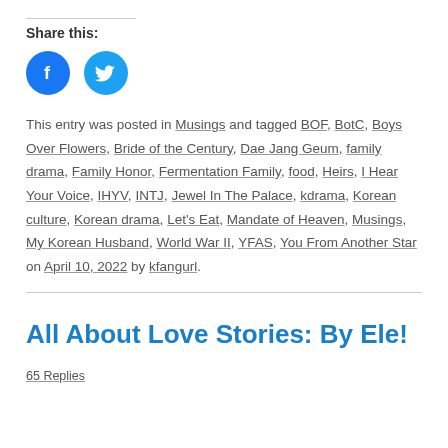Share this:
[Figure (illustration): Two social media icon buttons: Facebook (blue circle with 'f' icon) and Twitter (blue circle with bird icon)]
This entry was posted in Musings and tagged BOF, BotC, Boys Over Flowers, Bride of the Century, Dae Jang Geum, family drama, Family Honor, Fermentation Family, food, Heirs, I Hear Your Voice, IHYV, INTJ, Jewel In The Palace, kdrama, Korean culture, Korean drama, Let's Eat, Mandate of Heaven, Musings, My Korean Husband, World War II, YFAS, You From Another Star on April 10, 2022 by kfangurl.
All About Love Stories: By Ele!
65 Replies